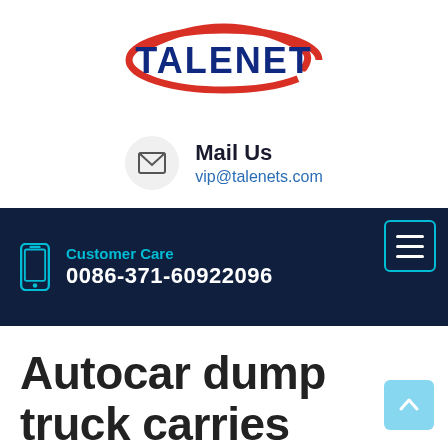[Figure (logo): Talenet company logo with red swoosh and dark blue bold text TALENET]
Mail Us
vip@talenets.com
[Figure (infographic): Dark navy navigation bar with hamburger menu icon (cyan border), phone icon, Customer Care label in cyan, and phone number 0086-371-60922096 in white]
Autocar dump truck carries heavy-duty